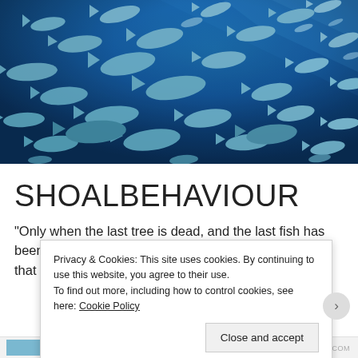[Figure (photo): Underwater photograph of a large school of silver fish (likely trevally or jacks) swimming in deep blue ocean water, viewed from below at an angle.]
SHOALBEHAVIOUR
"Only when the last tree is dead, and the last fish has been pulled from the ocean. Only then will man realise that he
Privacy & Cookies: This site uses cookies. By continuing to use this website, you agree to their use.
To find out more, including how to control cookies, see here: Cookie Policy
Close and accept